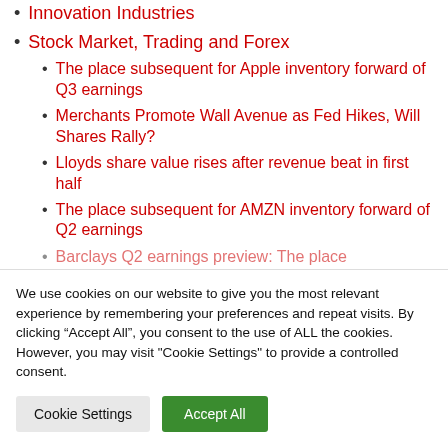Innovation Industries
Stock Market, Trading and Forex
The place subsequent for Apple inventory forward of Q3 earnings
Merchants Promote Wall Avenue as Fed Hikes, Will Shares Rally?
Lloyds share value rises after revenue beat in first half
The place subsequent for AMZN inventory forward of Q2 earnings
Barclays Q2 earnings preview: The place...
We use cookies on our website to give you the most relevant experience by remembering your preferences and repeat visits. By clicking “Accept All”, you consent to the use of ALL the cookies. However, you may visit "Cookie Settings" to provide a controlled consent.